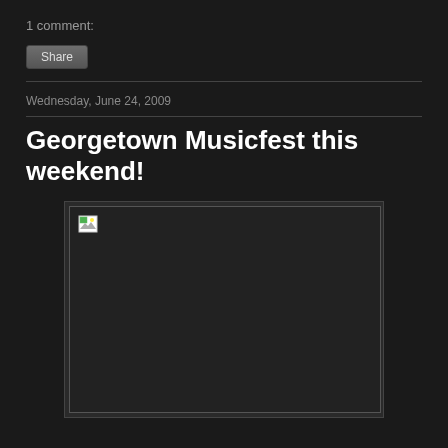1 comment:
Share
Wednesday, June 24, 2009
Georgetown Musicfest this weekend!
[Figure (photo): Broken/unloaded image placeholder with dark background and small broken image icon in top-left corner]